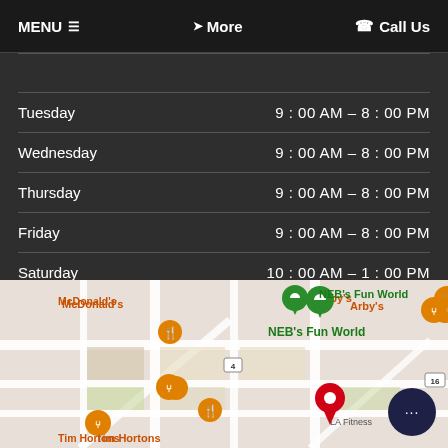MENU  ☰   ❯ More   ☎ Call Us
| Day | Hours |
| --- | --- |
| Tuesday | 9:00 AM – 8:00 PM |
| Wednesday | 9:00 AM – 8:00 PM |
| Thursday | 9:00 AM – 8:00 PM |
| Friday | 9:00 AM – 8:00 PM |
| Saturday | 10:00 AM – 1:00 PM |
| Sunday | Closed |
[Figure (map): Google Maps showing location near NEB's Fun World, LA Fitness, Tim Hortons, McDonald's, Arby's with a red pin marker]